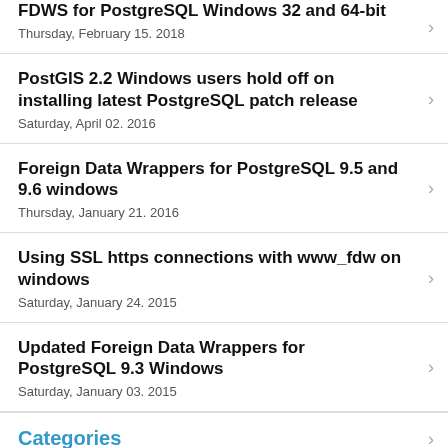FDWS for PostgreSQL Windows 32 and 64-bit
Thursday, February 15. 2018
PostGIS 2.2 Windows users hold off on installing latest PostgreSQL patch release
Saturday, April 02. 2016
Foreign Data Wrappers for PostgreSQL 9.5 and 9.6 windows
Thursday, January 21. 2016
Using SSL https connections with www_fdw on windows
Saturday, January 24. 2015
Updated Foreign Data Wrappers for PostgreSQL 9.3 Windows
Saturday, January 03. 2015
Categories